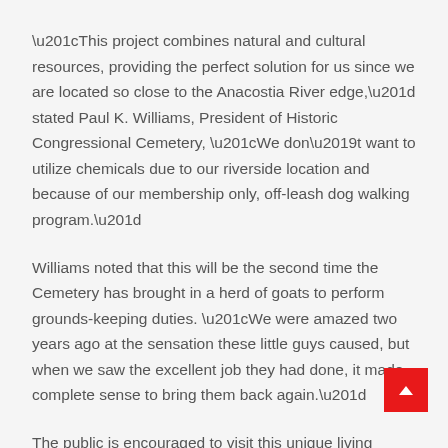“This project combines natural and cultural resources, providing the perfect solution for us since we are located so close to the Anacostia River edge,” stated Paul K. Williams, President of Historic Congressional Cemetery, “We don’t want to utilize chemicals due to our riverside location and because of our membership only, off-leash dog walking program.”
Williams noted that this will be the second time the Cemetery has brought in a herd of goats to perform grounds-keeping duties. “We were amazed two years ago at the sensation these little guys caused, but when we saw the excellent job they had done, it made complete sense to bring them back again.”
The public is encouraged to visit this unique living